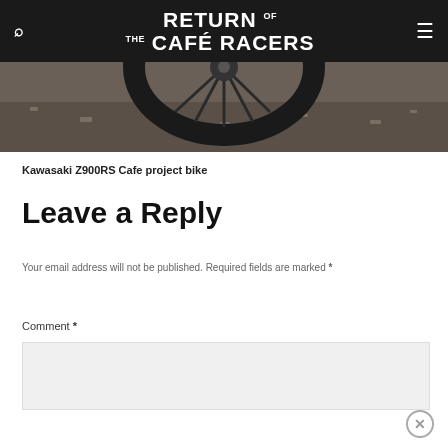RETURN OF THE CAFÉ RACERS
[Figure (photo): Partial view of motorcycle wheel/tire close-up on gravel ground, dark tones]
Kawasaki Z900RS Cafe project bike
Leave a Reply
Your email address will not be published. Required fields are marked *
Comment *